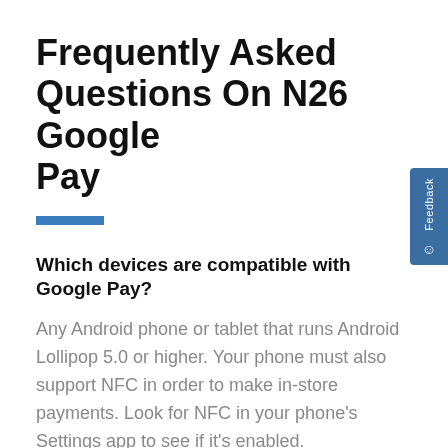Frequently Asked Questions On N26 Google Pay
Which devices are compatible with Google Pay?
Any Android phone or tablet that runs Android Lollipop 5.0 or higher. Your phone must also support NFC in order to make in-store payments. Look for NFC in your phone's Settings app to see if it's enabled.
Which N26 cards are compatible with